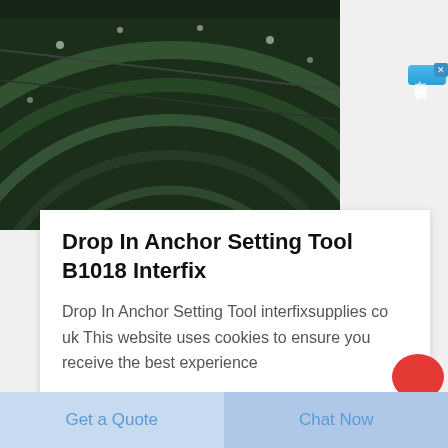[Figure (photo): Industrial interior photograph showing curved steel/iron structural arches with lights, dark green and black tones, resembling a large industrial facility or train station interior]
[Figure (other): Chinese online chat widget button on the right side, blue background with white Chinese characters reading 在线咨询 (online consultation), with a small close X button in top corner]
Drop In Anchor Setting Tool B1018 Interfix
Drop In Anchor Setting Tool interfixsupplies co uk This website uses cookies to ensure you receive the best experience
Get a Quote
Chat Now